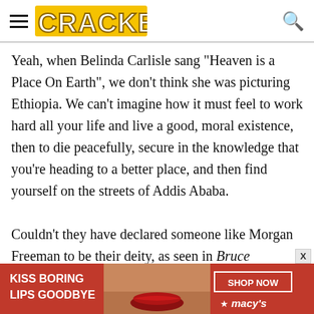CRACKED
Yeah, when Belinda Carlisle sang "Heaven is a Place On Earth", we don't think she was picturing Ethiopia. We can't imagine how it must feel to work hard all your life and live a good, moral existence, then to die peacefully, secure in the knowledge that you're heading to a better place, and then find yourself on the streets of Addis Ababa.

Couldn't they have declared someone like Morgan Freeman to be their deity, as seen in Bruce Almighty? If...
[Figure (screenshot): Advertisement banner for Macy's lipstick product: 'KISS BORING LIPS GOODBYE' with SHOP NOW button and Macy's star logo, red background with image of woman's lips]